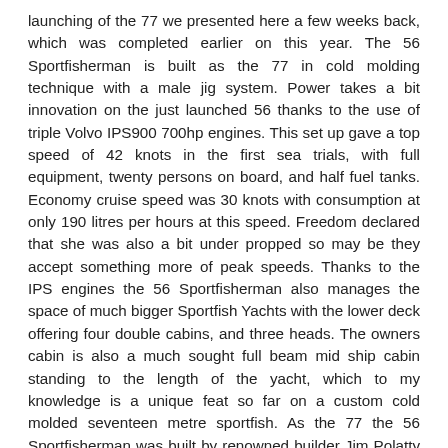launching of the 77 we presented here a few weeks back, which was completed earlier on this year. The 56 Sportfisherman is built as the 77 in cold molding technique with a male jig system. Power takes a bit innovation on the just launched 56 thanks to the use of triple Volvo IPS900 700hp engines. This set up gave a top speed of 42 knots in the first sea trials, with full equipment, twenty persons on board, and half fuel tanks. Economy cruise speed was 30 knots with consumption at only 190 litres per hours at this speed. Freedom declared that she was also a bit under propped so may be they accept something more of peak speeds. Thanks to the IPS engines the 56 Sportfisherman also manages the space of much bigger Sportfish Yachts with the lower deck offering four double cabins, and three heads. The owners cabin is also a much sought full beam mid ship cabin standing to the length of the yacht, which to my knowledge is a unique feat so far on a custom cold molded seventeen metre sportfish. As the 77 the 56 Sportfisherman was built by renowned builder Jim Polatty who with it completed his nineteenth construction. As the 77 design was done by Applied Concepts of Florida.
Technical Data: